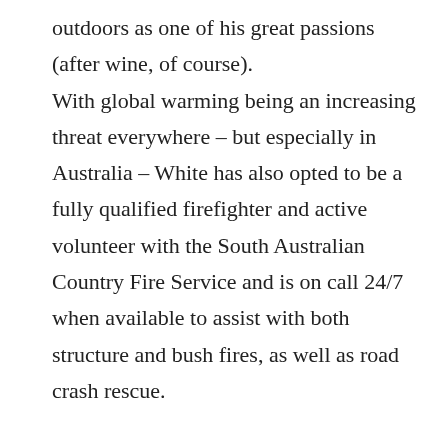outdoors as one of his great passions (after wine, of course).

With global warming being an increasing threat everywhere – but especially in Australia – White has also opted to be a fully qualified firefighter and active volunteer with the South Australian Country Fire Service and is on call 24/7 when available to assist with both structure and bush fires, as well as road crash rescue.